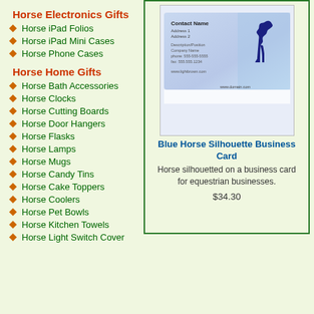Horse Electronics Gifts
Horse iPad Folios
Horse iPad Mini Cases
Horse Phone Cases
Horse Home Gifts
Horse Bath Accessories
Horse Clocks
Horse Cutting Boards
Horse Door Hangers
Horse Flasks
Horse Lamps
Horse Mugs
Horse Candy Tins
Horse Cake Toppers
Horse Coolers
Horse Pet Bowls
Horse Kitchen Towels
Horse Light Switch Cover
[Figure (photo): Business card featuring a blue horse silhouette on a light blue/purple background with placeholder contact name and details]
Blue Horse Silhouette Business Card
Horse silhouetted on a business card for equestrian businesses.
$34.30